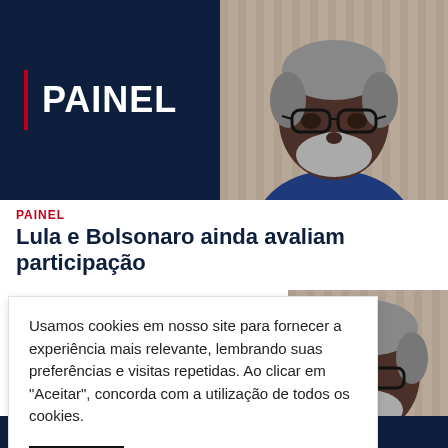[Figure (photo): Dark navy banner with PAINEL title and red vertical bar on left, man with glasses and gray beard on right]
PAINEL
Lula e Bolsonaro ainda avaliam participação
Usamos cookies em nosso site para fornecer a experiência mais relevante, lembrando suas preferências e visitas repetidas. Ao clicar em "Aceitar", concorda com a utilização de todos os cookies.
[Figure (photo): Close-up photo of older Black man with gray hair and beard, wearing glasses, blue shirt, looking serious]